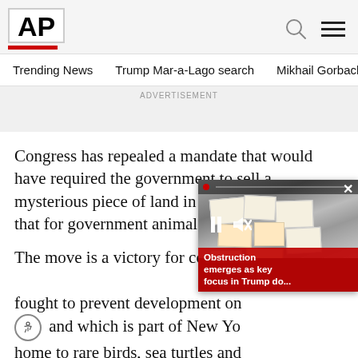AP
Trending News    Trump Mar-a-Lago search    Mikhail Gorbachev d
ADVERTISEMENT
Congress has repealed a mandate that would have required the government to sell a mysterious piece of land in Long Island Sound that for government animal disease research
The move is a victory for conservationists fought to prevent development on and which is part of New York home to rare birds, sea turtles and
[Figure (screenshot): Video overlay showing documents photo with red dot indicator, close button (x), pause and mute controls, and red caption bar reading 'Obstruction emerges as key focus in Trump do...']